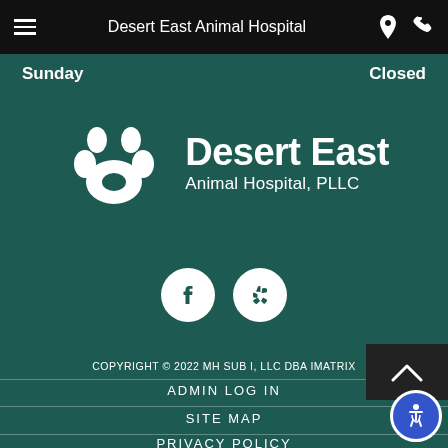Desert East Animal Hospital
Sunday    Closed
[Figure (logo): Desert East Animal Hospital, PLLC logo with white paw print icon on dark teal background]
[Figure (other): Facebook and Yelp social media icon circles in white on teal background]
COPYRIGHT © 2022 MH SUB I, LLC DBA IMATRIX
ADMIN LOG IN
SITE MAP
PRIVACY POLICY